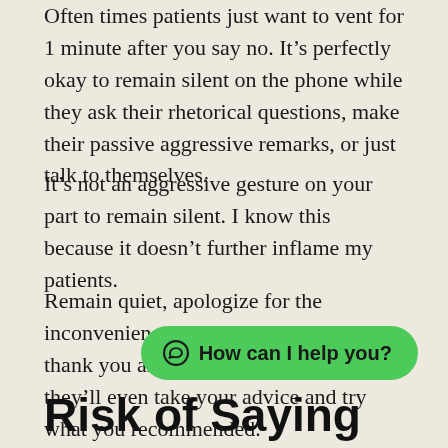Often times patients just want to vent for 1 minute after you say no. It’s perfectly okay to remain silent on the phone while they ask their rhetorical questions, make their passive aggressive remarks, or just talk to themselves.
It’s not an aggressive gesture on your part to remain silent. I know this because it doesn’t further inflame my patients.
Remain quiet, apologize for the inconvenience, and they usually will say thank you and end the call. Maybe they’ll even take your advice and try what you recommended.
Risk of Saying Yes